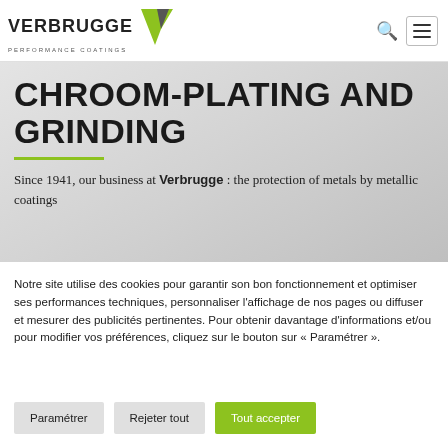Verbrugge Performance Coatings
CHROOM-PLATING AND GRINDING
Since 1941, our business at Verbrugge : the protection of metals by metallic coatings
Notre site utilise des cookies pour garantir son bon fonctionnement et optimiser ses performances techniques, personnaliser l'affichage de nos pages ou diffuser et mesurer des publicités pertinentes. Pour obtenir davantage d'informations et/ou pour modifier vos préférences, cliquez sur le bouton sur « Paramétrer ».
Paramétrer
Rejeter tout
Tout accepter